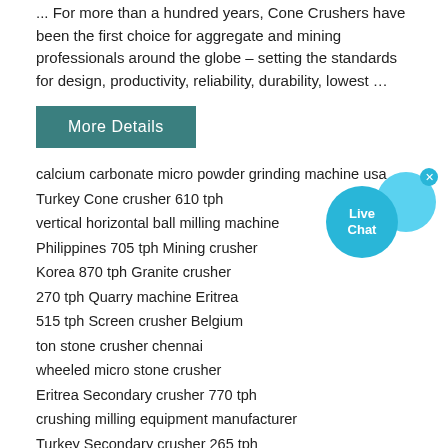... For more than a hundred years, Cone Crushers have been the first choice for aggregate and mining professionals around the globe – setting the standards for design, productivity, reliability, durability, lowest ...
More Details
calcium carbonate micro powder grinding machine usa
Turkey Cone crusher 610 tph
vertical horizontal ball milling machine
Philippines 705 tph Mining crusher
Korea 870 tph Granite crusher
270 tph Quarry machine Eritrea
515 tph Screen crusher Belgium
ton stone crusher chennai
wheeled micro stone crusher
Eritrea Secondary crusher 770 tph
crushing milling equipment manufacturer
Turkey Secondary crusher 265 tph
engineering drawings dewatering screens vibrating
White Quartz Iron Ore Raymond Mill
Portugal Mining crusher 880 tph